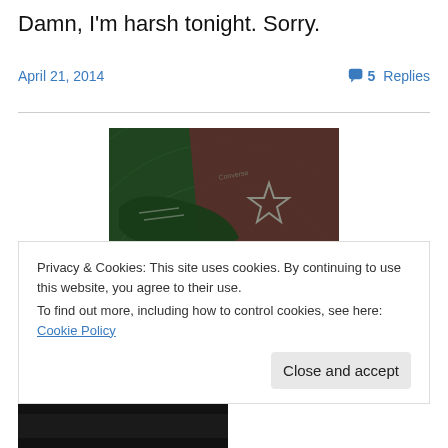Damn, I'm harsh tonight. Sorry.
April 21, 2014
5 Replies
[Figure (photo): Photo of green sneakers/Converse shoes with star logo on red fabric, on a green carpet/rug, viewed from low angle with green-tinted lighting]
Privacy & Cookies: This site uses cookies. By continuing to use this website, you agree to their use.
To find out more, including how to control cookies, see here: Cookie Policy
[Figure (photo): Partial dark/black bottom photo cropped at edge of page]